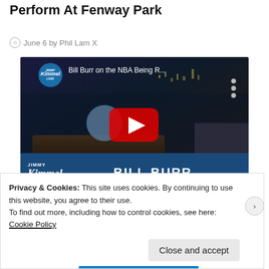Perform At Fenway Park
June 6 by Phil Lam X
[Figure (screenshot): YouTube video thumbnail showing comedian Bill Burr on Jimmy Kimmel Live. Title text reads 'Bill Burr on the NBA Being R...' with a red YouTube play button in the center. Bottom nameplate shows 'Jimmy Kimmel Live!' logo and 'BILL BURR' in large text.]
Privacy & Cookies: This site uses cookies. By continuing to use this website, you agree to their use.
To find out more, including how to control cookies, see here: Cookie Policy
Close and accept